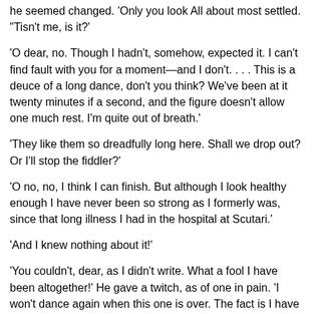he seemed changed. 'Only you look All about most settled. "Tisn't me, is it?'
'O dear, no. Though I hadn't, somehow, expected it. I can't find fault with you for a moment—and I don't. . . . This is a deuce of a long dance, don't you think? We've been at it twenty minutes if a second, and the figure doesn't allow one much rest. I'm quite out of breath.'
'They like them so dreadfully long here. Shall we drop out? Or I'll stop the fiddler?'
'O no, no, I think I can finish. But although I look healthy enough I have never been so strong as I formerly was, since that long illness I had in the hospital at Scutari.'
'And I knew nothing about it!'
'You couldn't, dear, as I didn't write. What a fool I have been altogether!' He gave a twitch, as of one in pain. 'I won't dance again when this one is over. The fact is I have